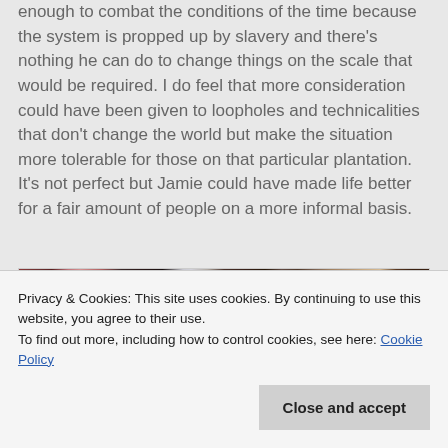enough to combat the conditions of the time because the system is propped up by slavery and there's nothing he can do to change things on the scale that would be required. I do feel that more consideration could have been given to loopholes and technicalities that don't change the world but make the situation more tolerable for those on that particular plantation. It's not perfect but Jamie could have made life better for a fair amount of people on a more informal basis.
[Figure (photo): A scene from a film or TV show showing people in period costume in a dimly lit interior room with curtains and windows.]
Privacy & Cookies: This site uses cookies. By continuing to use this website, you agree to their use.
To find out more, including how to control cookies, see here: Cookie Policy